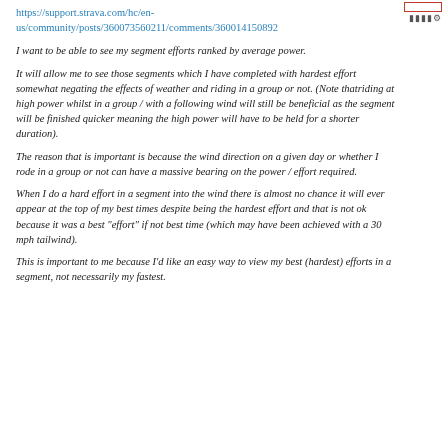https://support.strava.com/hc/en-us/community/posts/360073560211/comments/360014150892
I want to be able to see my segment efforts ranked by average power.
It will allow me to see those segments which I have completed with hardest effort somewhat negating the effects of weather and riding in a group or not. (Note thatriding at high power whilst in a group / with a following wind will still be beneficial as the segment will be finished quicker meaning the high power will have to be held for a shorter duration).
The reason that is important is because the wind direction on a given day or whether I rode in a group or not can have a massive bearing on the power / effort required.
When I do a hard effort in a segment into the wind there is almost no chance it will ever appear at the top of my best times despite being the hardest effort and that is not ok because it was a best "effort" if not best time (which may have been achieved with a 30 mph tailwind).
This is important to me because I'd like an easy way to view my best (hardest) efforts in a segment, not necessarily my fastest.